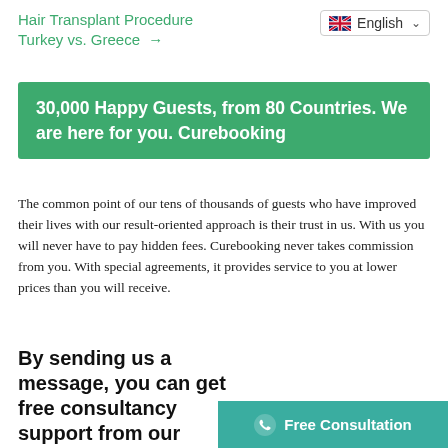Hair Transplant Procedure Turkey vs. Greece →
[Figure (screenshot): English language selector dropdown with UK flag icon and chevron]
30,000 Happy Guests, from 80 Countries. We are here for you. Curebooking
The common point of our tens of thousands of guests who have improved their lives with our result-oriented approach is their trust in us. With us you will never have to pay hidden fees. Curebooking never takes commission from you. With special agreements, it provides service to you at lower prices than you will receive.
By sending us a message, you can get free consultancy support from our experts.
[Figure (other): Free Consultation button with WhatsApp icon in teal/green color]